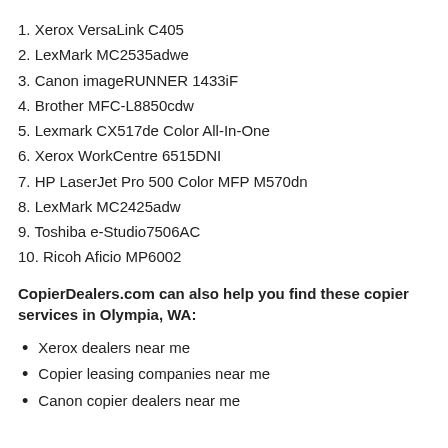1. Xerox VersaLink C405
2. LexMark MC2535adwe
3. Canon imageRUNNER 1433iF
4. Brother MFC-L8850cdw
5. Lexmark CX517de Color All-In-One
6. Xerox WorkCentre 6515DNI
7. HP LaserJet Pro 500 Color MFP M570dn
8. LexMark MC2425adw
9. Toshiba e-Studio7506AC
10. Ricoh Aficio MP6002
CopierDealers.com can also help you find these copier services in Olympia, WA:
Xerox dealers near me
Copier leasing companies near me
Canon copier dealers near me